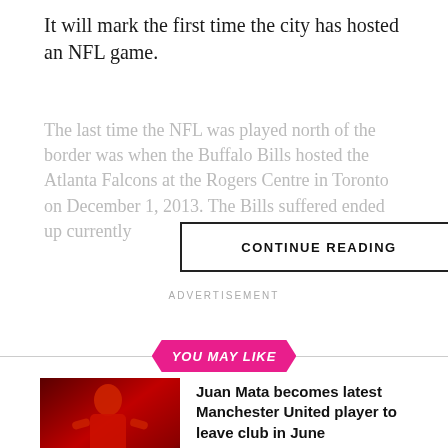It will mark the first time the city has hosted an NFL game.
The last time the NFL was played north of the border was when the Buffalo Bills hosted the Atlanta Falcons at the Rogers Centre in Toronto on December 1, 2013. The Bills suffered ended up currently
CONTINUE READING
ADVERTISEMENT
YOU MAY LIKE
[Figure (photo): Juan Mata in Manchester United red jersey, applauding]
Juan Mata becomes latest Manchester United player to leave club in June